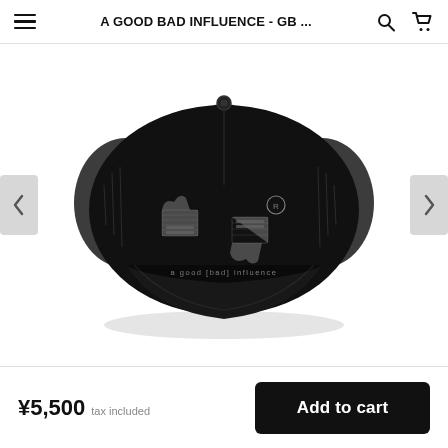A GOOD BAD INFLUENCE - GB ...
[Figure (photo): Black trucker cap with graphic print showing thumbs up and thumbs down hands in grey text pattern with 'a good [bad] influence' text and logo circle on the front panel]
¥5,500 tax included
Add to cart